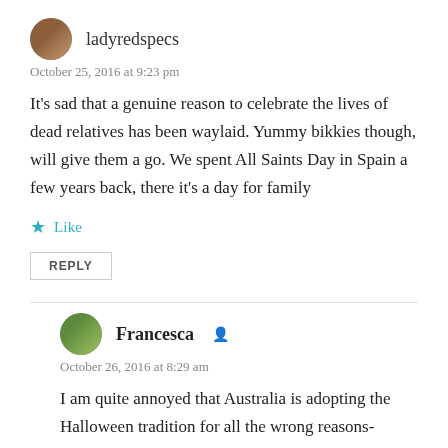ladyredspecs
October 25, 2016 at 9:23 pm
It's sad that a genuine reason to celebrate the lives of dead relatives has been waylaid. Yummy bikkies though, will give them a go. We spent All Saints Day in Spain a few years back, there it's a day for family
Like
REPLY
Francesca
October 26, 2016 at 8:29 am
I am quite annoyed that Australia is adopting the Halloween tradition for all the wrong reasons- commercialisation of the day is disgusting and so American. I have yet another post to do on this day before I